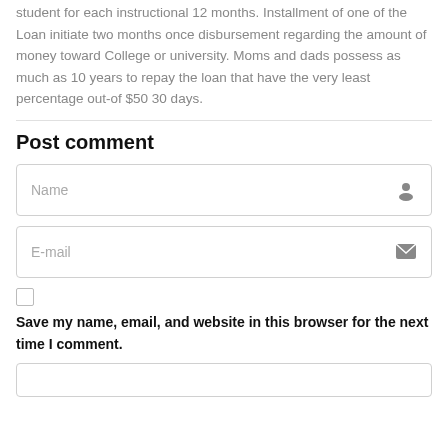student for each instructional 12 months. Installment of one of the Loan initiate two months once disbursement regarding the amount of money toward College or university. Moms and dads possess as much as 10 years to repay the loan that have the very least percentage out-of $50 30 days.
Post comment
[Figure (screenshot): Name input field with person icon on the right]
[Figure (screenshot): E-mail input field with envelope icon on the right]
[Figure (screenshot): Checkbox (unchecked)]
Save my name, email, and website in this browser for the next time I comment.
[Figure (screenshot): Comment text input box (partially visible at bottom)]